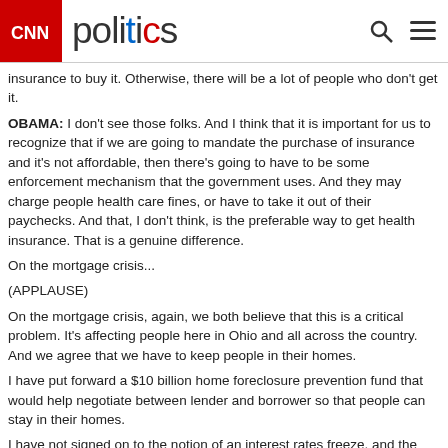CNN Politics
insurance to buy it. Otherwise, there will be a lot of people who don't get it.
OBAMA: I don't see those folks. And I think that it is important for us to recognize that if we are going to mandate the purchase of insurance and it's not affordable, then there's going to have to be some enforcement mechanism that the government uses. And they may charge people health care fines, or have to take it out of their paychecks. And that, I don't think, is the preferable way to get health insurance. That is a genuine difference.
On the mortgage crisis...
(APPLAUSE)
On the mortgage crisis, again, we both believe that this is a critical problem. It's affecting people here in Ohio and all across the country. And we agree that we have to keep people in their homes.
I have put forward a $10 billion home foreclosure prevention fund that would help negotiate between lender and borrower so that people can stay in their homes.
I have not signed on to the notion of an interest rates freeze, and the reason is not because I want to protect the banks. The problem is, is that if we have such a freeze, mortgage interest rates will go up across the board and you will have a lot of people who are currently trying to get mortgages who will have a more of a difficult time.
So, some of the people that we want to protect could end up being hurt by such a freeze.
Now, keep in mind, the one thing I suspect that Senator Clinton and I agree on... the reason we got into this mortgage mess is because there's been complete lack of oversight on the part of regulators.
(APPLAUSE)